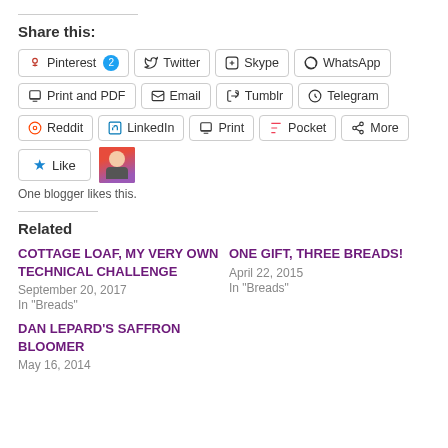Share this:
Pinterest 2 | Twitter | Skype | WhatsApp
Print and PDF | Email | Tumblr | Telegram
Reddit | LinkedIn | Print | Pocket | More
[Figure (other): Like button with star icon and user avatar. Text: One blogger likes this.]
Related
COTTAGE LOAF, MY VERY OWN TECHNICAL CHALLENGE
September 20, 2017
In "Breads"
ONE GIFT, THREE BREADS!
April 22, 2015
In "Breads"
DAN LEPARD'S SAFFRON BLOOMER
May 16, 2014